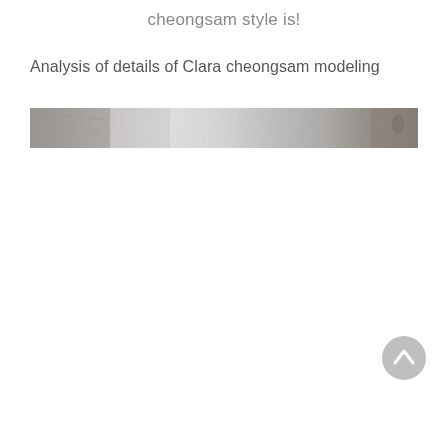cheongsam style is!
Analysis of details of Clara cheongsam modeling
[Figure (photo): A horizontal strip photograph showing a close-up detail of a cheongsam fabric or garment, displaying gradients of gray and beige tones with textured material visible.]
[Figure (other): A circular gray button/icon with an upward-pointing chevron arrow, used as a scroll-to-top navigation element.]